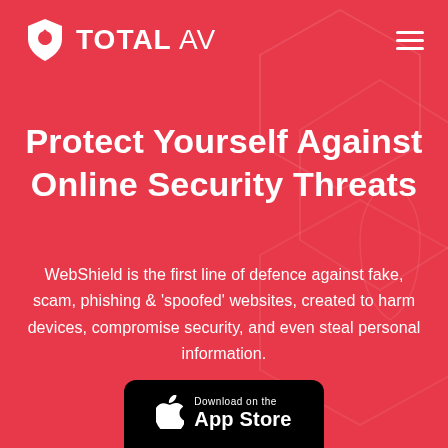TOTAL AV
Protect Yourself Against Online Security Threats
WebShield is the first line of defence against fake, scam, phishing & 'spoofed' websites, created to harm devices, compromise security, and even steal personal information.
[Figure (logo): Download on the App Store button — black rounded rectangle with Apple logo and text 'Download on the App Store']